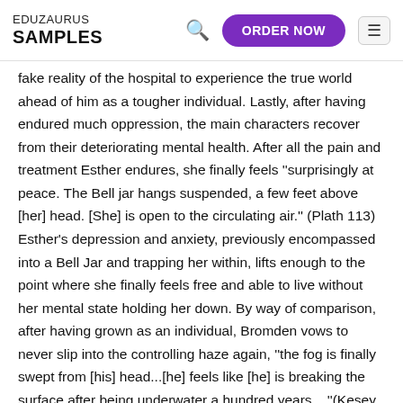EDUZAURUS SAMPLES
fake reality of the hospital to experience the true world ahead of him as a tougher individual. Lastly, after having endured much oppression, the main characters recover from their deteriorating mental health. After all the pain and treatment Esther endures, she finally feels ''surprisingly at peace. The Bell jar hangs suspended, a few feet above [her] head. [She] is open to the circulating air.'' (Plath 113) Esther's depression and anxiety, previously encompassed into a Bell Jar and trapping her within, lifts enough to the point where she finally feels free and able to live without her mental state holding her down. By way of comparison, after having grown as an individual, Bromden vows to never slip into the controlling haze again, ''the fog is finally swept from [his] head...[he] feels like [he] is breaking the surface after being underwater a hundred years....''(Kesey 288-289). The imaginary fog in Bromden's mind created by his mental state